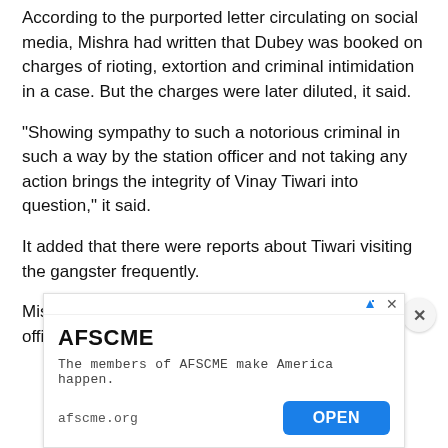According to the purported letter circulating on social media, Mishra had written that Dubey was booked on charges of rioting, extortion and criminal intimidation in a case. But the charges were later diluted, it said.
“Showing sympathy to such a notorious criminal in such a way by the station officer and not taking any action brings the integrity of Vinay Tiwari into question,” it said.
It added that there were reports about Tiwari visiting the gangster frequently.
Mishra’s alleged letter to the SSP said if the station officer does not change his style of functioning, a
[Figure (screenshot): Advertisement banner for AFSCME. Title: AFSCME. Description: The members of AFSCME make America happen. URL: afscme.org. Button: OPEN. Has ad icon and X close button.]